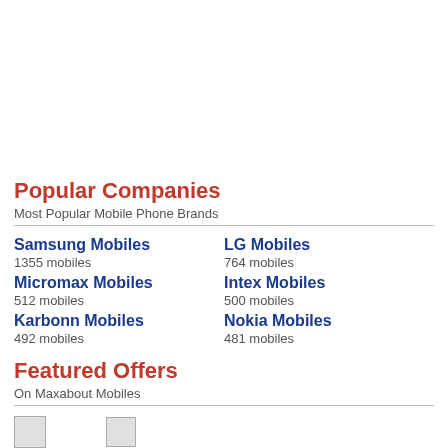Popular Companies
Most Popular Mobile Phone Brands
Samsung Mobiles
1355 mobiles
LG Mobiles
764 mobiles
Micromax Mobiles
512 mobiles
Intex Mobiles
500 mobiles
Karbonn Mobiles
492 mobiles
Nokia Mobiles
481 mobiles
Featured Offers
On Maxabout Mobiles
[Figure (other): Two small icon images at bottom of page]